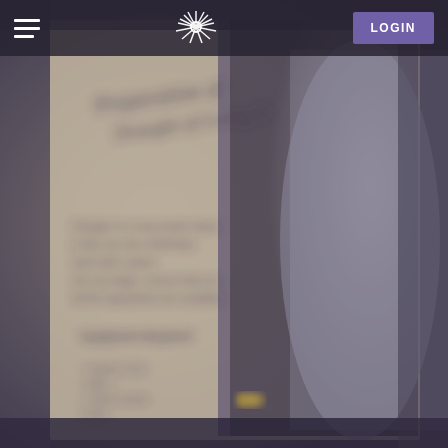[Figure (photo): Blurred close-up photo of an open book showing handwritten or printed potion recipe pages (Draught of Living Death / Preparation of...) with a cylindrical container visible on the right side, all in sepia/dark tones]
WIZARDING WORLD   LOGIN